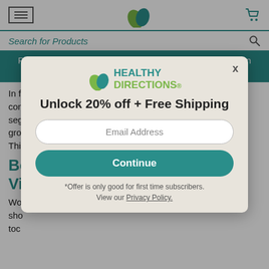Navigation header with menu icon, Healthy Directions logo, and cart icon
Search for Products
Reusable Savings! Use Promo Code TAKEFIVE to save $5 on orders all summer long! | Shop Now
In fact, one thing the Vitamin E prostate study did con... to a seg... gro...
Bo... Vi...
Wo... sho... toc...
[Figure (screenshot): Modal popup overlay for Healthy Directions email signup. Contains logo, headline 'Unlock 20% off + Free Shipping', email address input field, Continue button, footnote about first time subscribers, and Privacy Policy link.]